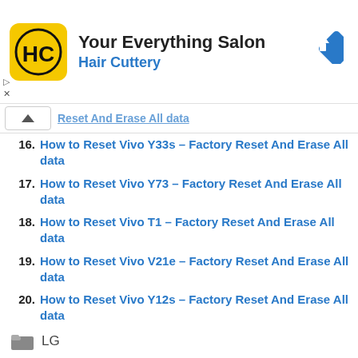[Figure (screenshot): Hair Cuttery advertisement banner with yellow HC logo, title 'Your Everything Salon', subtitle 'Hair Cuttery', and a blue navigation diamond icon on the right.]
16. How to Reset Vivo Y33s – Factory Reset And Erase All data
17. How to Reset Vivo Y73 – Factory Reset And Erase All data
18. How to Reset Vivo T1 – Factory Reset And Erase All data
19. How to Reset Vivo V21e – Factory Reset And Erase All data
20. How to Reset Vivo Y12s – Factory Reset And Erase All data
LG